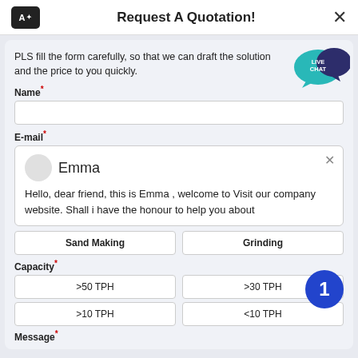Request A Quotation!
PLS fill the form carefully, so that we can draft the solution and the price to you quickly.
Name*
E-mail*
Emma
Hello, dear friend, this is Emma , welcome to Visit our company website. Shall i have the honour to help you about
Sand Making
Grinding
Capacity*
>50 TPH
>30 TPH
>10 TPH
<10 TPH
Message*